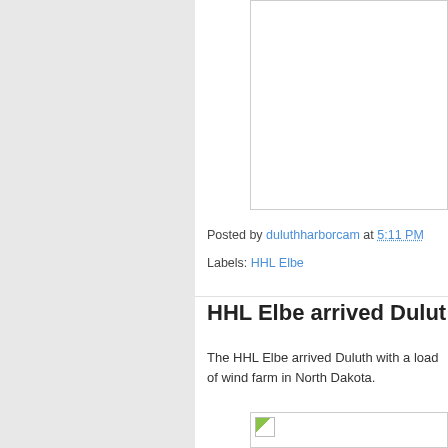[Figure (photo): Image placeholder box at top of content area]
Posted by duluthharborcam at 5:11 PM
Labels: HHL Elbe
HHL Elbe arrived Duluth
The HHL Elbe arrived Duluth with a load of wind farm in North Dakota.
[Figure (photo): Image placeholder box showing partially loaded image]